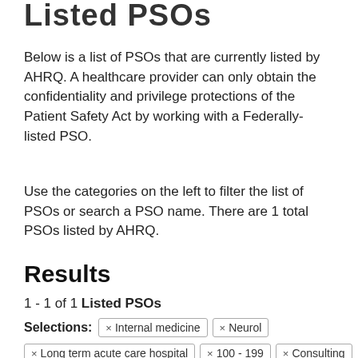Listed PSOs
Below is a list of PSOs that are currently listed by AHRQ. A healthcare provider can only obtain the confidentiality and privilege protections of the Patient Safety Act by working with a Federally-listed PSO.
Use the categories on the left to filter the list of PSOs or search a PSO name. There are 1 total PSOs listed by AHRQ.
Results
1 - 1 of 1 Listed PSOs
Selections: × Internal medicine × Neurol × Long term acute care hospital × 100 - 199 × Consulting